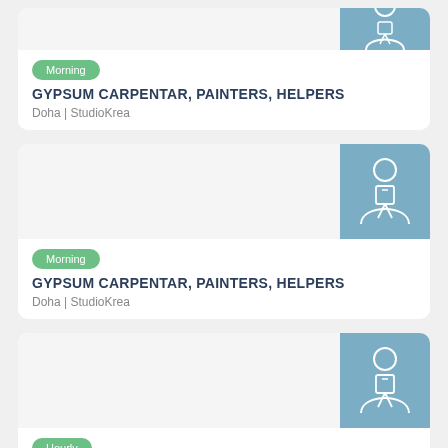[Figure (illustration): Job listing card (partial top) with a person/worker icon on blue-grey background]
Morning
GYPSUM CARPENTAR, PAINTERS, HELPERS
Doha | StudioKrea
[Figure (illustration): Job listing card with a professional person icon on blue-grey background]
Morning
GYPSUM CARPENTAR, PAINTERS, HELPERS
Doha | StudioKrea
[Figure (illustration): Job listing card with a professional person icon on blue-grey background]
Hourly
Team Leaders / Electricians / Plumbers / Helpers U...